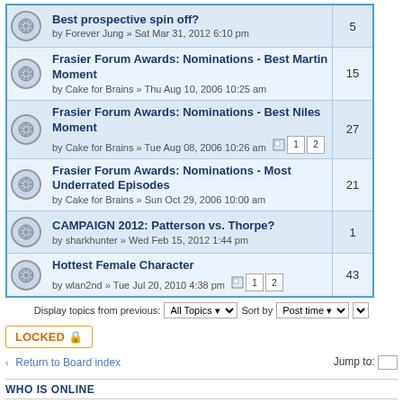| Topic | Replies |
| --- | --- |
| Best prospective spin off?
by Forever Jung » Sat Mar 31, 2012 6:10 pm | 5 |
| Frasier Forum Awards: Nominations - Best Martin Moment
by Cake for Brains » Thu Aug 10, 2006 10:25 am | 15 |
| Frasier Forum Awards: Nominations - Best Niles Moment
by Cake for Brains » Tue Aug 08, 2006 10:26 am | 27 |
| Frasier Forum Awards: Nominations - Most Underrated Episodes
by Cake for Brains » Sun Oct 29, 2006 10:00 am | 21 |
| CAMPAIGN 2012: Patterson vs. Thorpe?
by sharkhunter » Wed Feb 15, 2012 1:44 pm | 1 |
| Hottest Female Character
by wlan2nd » Tue Jul 20, 2010 4:38 pm | 43 |
Display topics from previous: All Topics  Sort by Post time
LOCKED
Return to Board index   Jump to:
WHO IS ONLINE
Users browsing this forum: No registered users and 4 guests